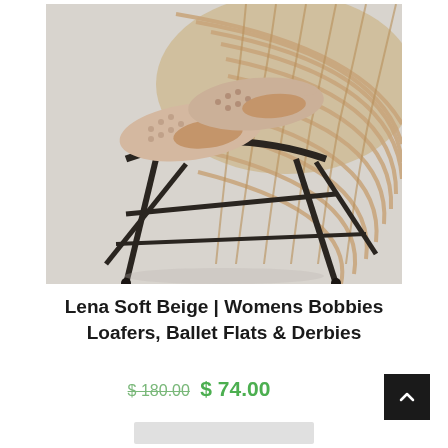[Figure (photo): Close-up photo of beige perforated ballet flat shoes placed on a rattan/wicker chair with black metal legs, on a light grey background.]
Lena Soft Beige | Womens Bobbies Loafers, Ballet Flats & Derbies
$ 180.00 $ 74.00